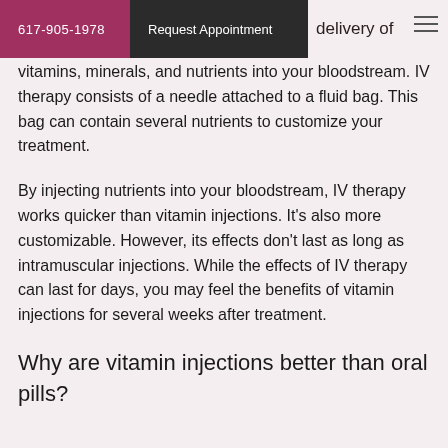617-905-1978  Request Appointment  delivery of vitamins, minerals, and nutrients into your bloodstream.
delivery of vitamins, minerals, and nutrients into your bloodstream. IV therapy consists of a needle attached to a fluid bag. This bag can contain several nutrients to customize your treatment.
By injecting nutrients into your bloodstream, IV therapy works quicker than vitamin injections. It's also more customizable. However, its effects don't last as long as intramuscular injections. While the effects of IV therapy can last for days, you may feel the benefits of vitamin injections for several weeks after treatment.
Why are vitamin injections better than oral pills?